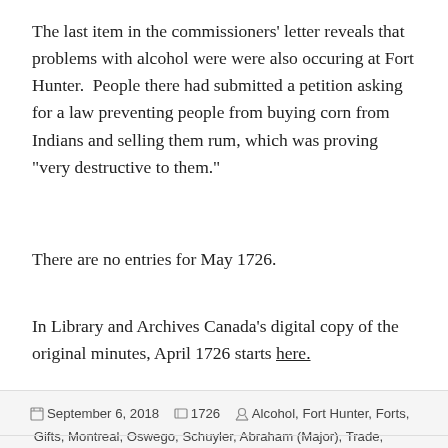The last item in the commissioners' letter reveals that problems with alcohol were were also occuring at Fort Hunter.  People there had submitted a petition asking for a law preventing people from buying corn from Indians and selling them rum, which was proving “very destructive to them.”
There are no entries for May 1726.
In Library and Archives Canada’s digital copy of the original minutes, April 1726 starts here.
September 6, 2018   1726   Alcohol, Fort Hunter, Forts, Gifts, Montreal, Oswego, Schuyler, Abraham (Major), Trade, Wampum   Leave a comment
Minute Book 3: 1726-March: